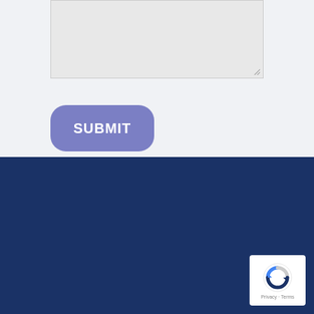[Figure (screenshot): Textarea input box with resize handle in bottom-right corner, on light gray background]
[Figure (screenshot): Purple SUBMIT button with rounded corners]
fleetr
by JOOYCAR
Fleetr is a market leader with our fleet GPS tracker. With our OBDII tracker, we serve thousands of vehicles. Our parent company, Jooycar, has connected over 25,000 vehicles in Latin America.
[Figure (logo): reCAPTCHA badge with Privacy and Terms links]